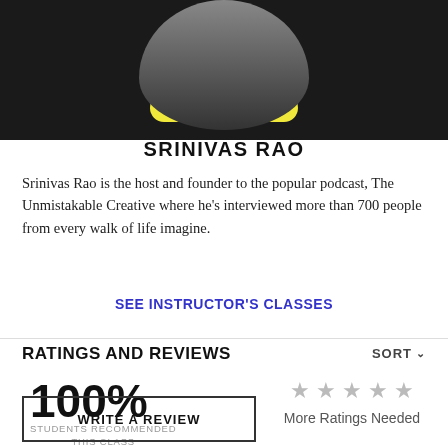[Figure (photo): Circular photo of Srinivas Rao (black and white) with a yellow 'WATCH TRAILER' button overlay]
SRINIVAS RAO
Srinivas Rao is the host and founder to the popular podcast, The Unmistakable Creative where he's interviewed more than 700 people from every walk of life imagine.
SEE INSTRUCTOR'S CLASSES
RATINGS AND REVIEWS
100%
STUDENTS RECOMMENDED THIS CLASS
More Ratings Needed
WRITE A REVIEW